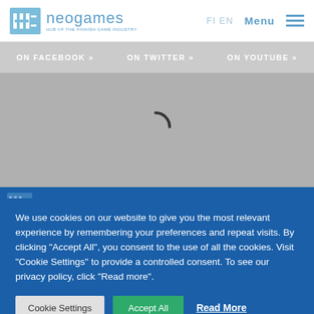[Figure (logo): Neogames logo with stylized bracket icon and text 'neogames' with subtitle 'HUB OF THE FINNISH GAME INDUSTRY']
FI EN  Menu
ON FACEBOOK »   ON TWITTER »   ON YOUTUBE »
[Figure (screenshot): Grey website content area with loading spinner and partial neogames logo overlay]
We use cookies on our website to give you the most relevant experience by remembering your preferences and repeat visits. By clicking "Accept All", you consent to the use of all the cookies. Visit "Cookie Settings" to provide a controlled consent. To see our privacy policy, click "Read more".
Cookie Settings   Accept All   Read More